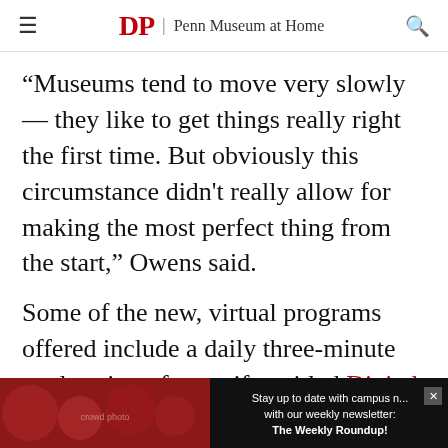DP | Penn Museum at Home
“Museums tend to move very slowly — they like to get things really right the first time. But obviously this circumstance didn't really allow for making the most perfect thing from the start,” Owens said.
Some of the new, virtual programs offered include a daily three-minute exploration of an artifact titled Digital Daily Digs, a family-focused project titled At-Home Anthropology for Kids, a history-based video lecture series titled Great
[Figure (photo): Advertisement banner showing crowd of people in red shirts with newsletter signup text overlay]